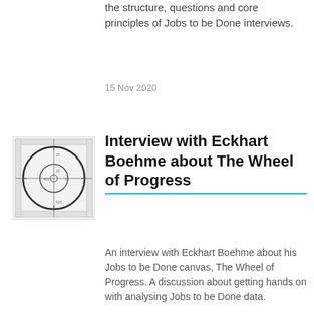the structure, questions and core principles of Jobs to be Done interviews.
15 Nov 2020
[Figure (illustration): Technical diagram showing a wheel/circular schematic with concentric circles and cross lines, resembling an engineering or blueprint-style drawing.]
Interview with Eckhart Boehme about The Wheel of Progress
An interview with Eckhart Boehme about his Jobs to be Done canvas, The Wheel of Progress. A discussion about getting hands on with analysing Jobs to be Done data.